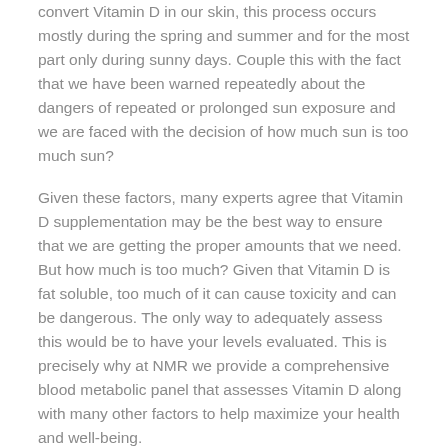convert Vitamin D in our skin, this process occurs mostly during the spring and summer and for the most part only during sunny days. Couple this with the fact that we have been warned repeatedly about the dangers of repeated or prolonged sun exposure and we are faced with the decision of how much sun is too much sun?
Given these factors, many experts agree that Vitamin D supplementation may be the best way to ensure that we are getting the proper amounts that we need. But how much is too much? Given that Vitamin D is fat soluble, too much of it can cause toxicity and can be dangerous. The only way to adequately assess this would be to have your levels evaluated. This is precisely why at NMR we provide a comprehensive blood metabolic panel that assesses Vitamin D along with many other factors to help maximize your health and well-being.
Author: Dr. Jenny Smith